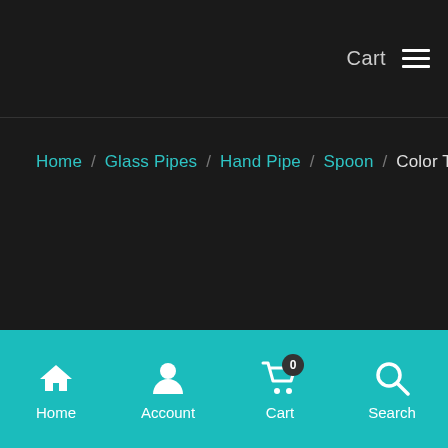Cart ≡
Home / Glass Pipes / Hand Pipe / Spoon / Color Trail Glass Pipe
Home  Account  Cart 0  Search